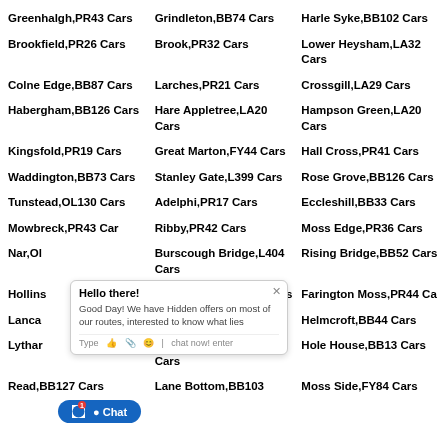Greenhalgh,PR43 Cars
Grindleton,BB74 Cars
Harle Syke,BB102 Cars
Brookfield,PR26 Cars
Brook,PR32 Cars
Lower Heysham,LA32 Cars
Colne Edge,BB87 Cars
Larches,PR21 Cars
Crossgill,LA29 Cars
Habergham,BB126 Cars
Hare Appletree,LA20 Cars
Hampson Green,LA20 Cars
Kingsfold,PR19 Cars
Great Marton,FY44 Cars
Hall Cross,PR41 Cars
Waddington,BB73 Cars
Stanley Gate,L399 Cars
Rose Grove,BB126 Cars
Tunstead,OL130 Cars
Adelphi,PR17 Cars
Eccleshill,BB33 Cars
Mowbreck,PR43 Cars
Ribby,PR42 Cars
Moss Edge,PR36 Cars
Nar,OL...
Burscough Bridge,L404 Cars
Rising Bridge,BB52 Cars
Hollins...
Little Knowley,PR69 Cars
Farington Moss,PR44 Cars
Lanca...
Intack,BB12 Cars
Helmcroft,BB44 Cars
Lythar...
Little Plumpton,PR43 Cars
Hole House,BB13 Cars
Read,BB127 Cars
Lane Bottom,BB103 Cars
Moss Side,FY84 Cars